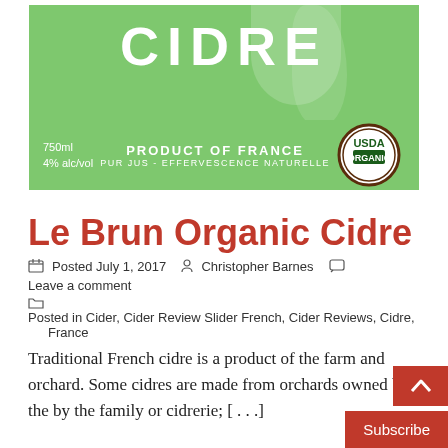[Figure (photo): Product label for Le Brun Organic Cidre — green background label showing 'CIDRE' in large white letters, '750ml 4% alc/vol', 'PRODUCT OF FRANCE', 'PUR JUS - EFFERVESCENCE NATURELLE', and a USDA Organic badge.]
Le Brun Organic Cidre
Posted July 1, 2017   Christopher Barnes   Leave a comment
Posted in Cider, Cider Review Slider French, Cider Reviews, Cidre, France
Traditional French cidre is a product of the farm and orchard. Some cidres are made from orchards owned by the by the family or cidrerie; [...]